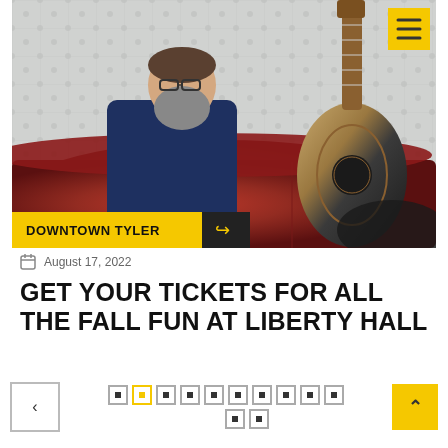[Figure (photo): Man with long gray beard sitting on a red leather sofa with an acoustic guitar leaning against it. White quilted backdrop. Yellow navigation menu button in top right corner. Yellow 'DOWNTOWN TYLER' tag with share arrow at bottom of image.]
August 17, 2022
GET YOUR TICKETS FOR ALL THE FALL FUN AT LIBERTY HALL